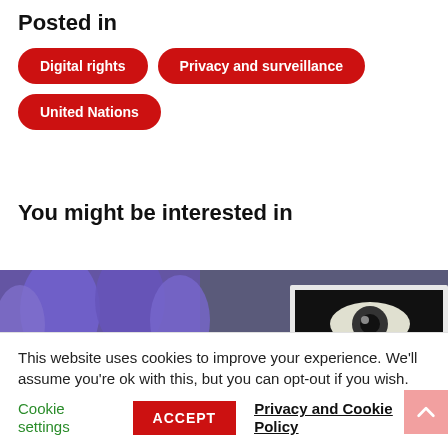Posted in
Digital rights
Privacy and surveillance
United Nations
You might be interested in
[Figure (photo): Protest crowd holding purple flags and signs in Hungarian, including a sign reading 'ELLOPJÁK?' (Will they steal it?) with an eye image]
This website uses cookies to improve your experience. We'll assume you're ok with this, but you can opt-out if you wish.
Cookie settings  ACCEPT  Privacy and Cookie Policy